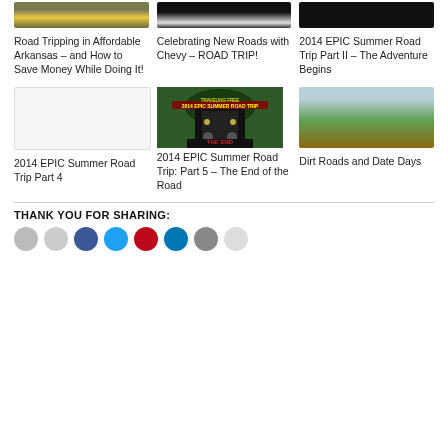[Figure (photo): Road/highway top-down photo]
Road Tripping in Affordable Arkansas – and How to Save Money While Doing It!
[Figure (photo): Car on road photo]
Celebrating New Roads with Chevy – ROAD TRIP!
[Figure (photo): Dark night road photo]
2014 EPIC Summer Road Trip Part II – The Adventure Begins
[Figure (photo): Blank/white placeholder image]
2014 EPIC Summer Road Trip Part 4
[Figure (photo): Car driving through rock tunnel - THE END sign]
2014 EPIC Summer Road Trip: Part 5 – The End of the Road
[Figure (photo): Dirt road with green field and car]
Dirt Roads and Date Days
THANK YOU FOR SHARING:
[Figure (other): Social sharing icons row]